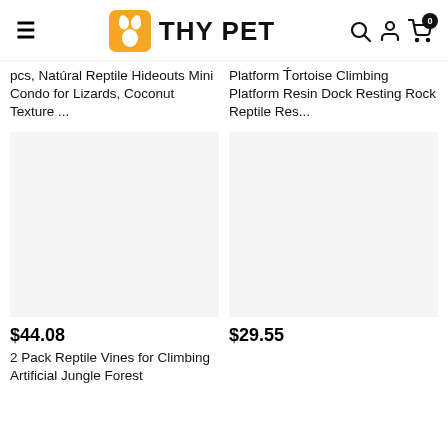THY PET
pcs, Natural Reptile Hideouts Mini Condo for Lizards, Coconut Texture ...
Platform Tortoise Climbing Platform Resin Dock Resting Rock Reptile Res...
$44.08
2 Pack Reptile Vines for Climbing Artificial Jungle Forest
$29.55